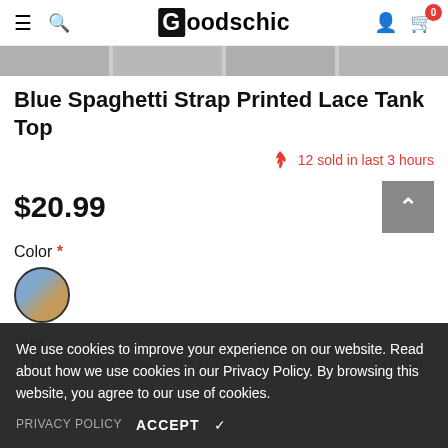Goodschic
[Figure (photo): Thumbnail strip of product images]
Blue Spaghetti Strap Printed Lace Tank Top
12 sold in last 3 hours
$20.99
Color *
[Figure (photo): Color swatch showing blue/tan product thumbnail]
Size
(US 4-6)S  (US 8-10)M  (US 12-14)L  (US 16-18)XL  (US 18-20)XXL
We use cookies to improve your experience on our website. Read about how we use cookies in our Privacy Policy. By browsing this website, you agree to our use of cookies.
PRIVACY POLICY   ACCEPT ✔